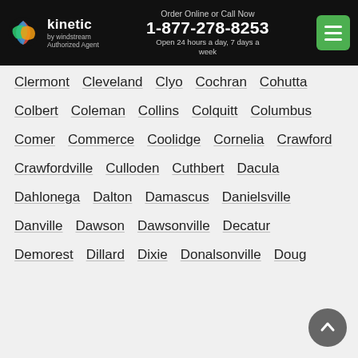Kinetic by Windstream Authorized Agent | Order Online or Call Now 1-877-278-8253 | Open 24 hours a day, 7 days a week
Clermont   Cleveland   Clyo   Cochran   Cohutta
Colbert   Coleman   Collins   Colquitt   Columbus
Comer   Commerce   Coolidge   Cornelia   Crawford
Crawfordville   Culloden   Cuthbert   Dacula
Dahlonega   Dalton   Damascus   Danielsville
Danville   Dawson   Dawsonville   Decatur
Demorest   Dillard   Dixie   Donalsonville   Doug…